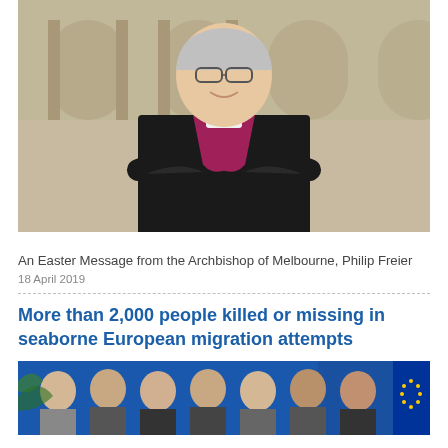[Figure (photo): Portrait photo of Archbishop of Melbourne Philip Freier, a smiling man in clerical collar and black jacket with purple shirt, arms crossed, standing in front of arched stone colonnade]
An Easter Message from the Archbishop of Melbourne, Philip Freier
18 April 2019
More than 2,000 people killed or missing in seaborne European migration attempts
[Figure (photo): Group photo of officials standing in front of a blue background with EU flag visible on the right]